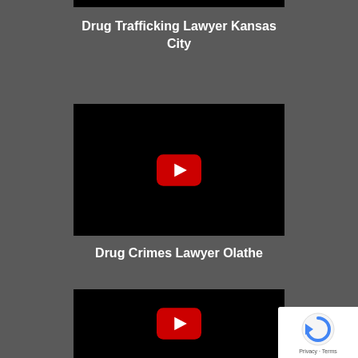[Figure (screenshot): Partial black video thumbnail at top of page]
Drug Trafficking Lawyer Kansas City
[Figure (screenshot): Black YouTube video thumbnail with red play button in center]
Drug Crimes Lawyer Olathe
[Figure (screenshot): Black YouTube video thumbnail partially visible with red play button, and reCAPTCHA badge in bottom right corner]